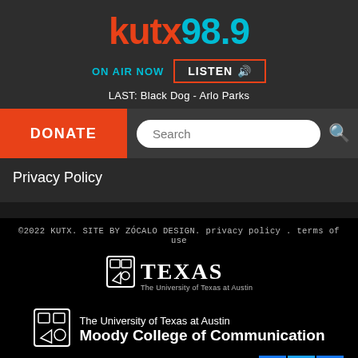[Figure (logo): KUTX 98.9 radio station logo with 'kutx' in red and '98.9' in cyan]
ON AIR NOW   LISTEN 🔊
LAST: Black Dog - Arlo Parks
DONATE
Search
Privacy Policy
©2022 KUTX. SITE BY ZÓCALO DESIGN. privacy policy . terms of use
[Figure (logo): University of Texas at Austin shield logo with TEXAS wordmark and subtitle 'The University of Texas at Austin']
[Figure (logo): University of Texas at Austin Moody College of Communication logo with shield icon]
The University of Texas at Austin
Moody College of Communication